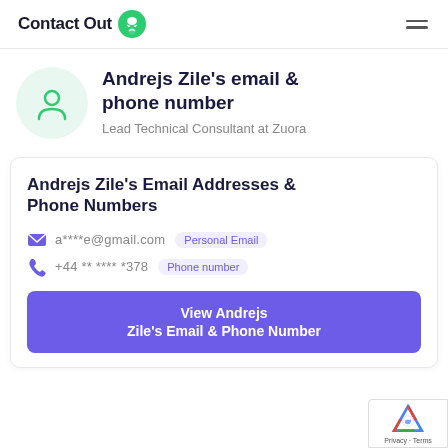ContactOut
Andrejs Zile's email & phone number
Lead Technical Consultant at Zuora
Andrejs Zile's Email Addresses & Phone Numbers
a****e@gmail.com  Personal Email
+44 ** **** *378  Phone number
View Andrejs Zile's Email & Phone Number